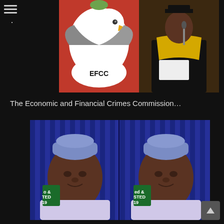[Figure (photo): Composite image: left side shows EFCC logo with eagle and red background labeled 'EFCC'; right side shows a man in judicial/academic regalia speaking at a microphone]
The Economic and Financial Crimes Commission…
[Figure (photo): Side-by-side duplicate portrait of a man wearing a blue traditional Nigerian cap and white agbada, with campaign poster elements showing 'e &', 'TED', '19' text on blue striped background]